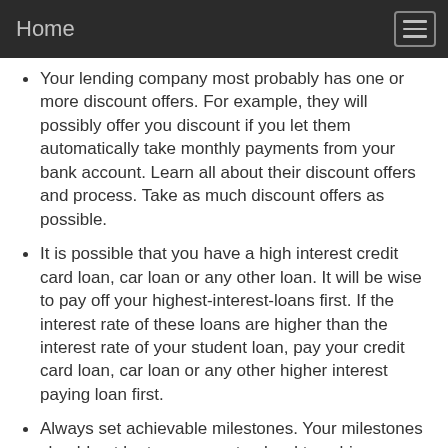Home
Your lending company most probably has one or more discount offers. For example, they will possibly offer you discount if you let them automatically take monthly payments from your bank account. Learn all about their discount offers and process. Take as much discount offers as possible.
It is possible that you have a high interest credit card loan, car loan or any other loan. It will be wise to pay off your highest-interest-loans first. If the interest rate of these loans are higher than the interest rate of your student loan, pay your credit card loan, car loan or any other higher interest paying loan first.
Always set achievable milestones. Your milestones should not be too easy or too hard to achieve.
Try to take your summer classes in your local...